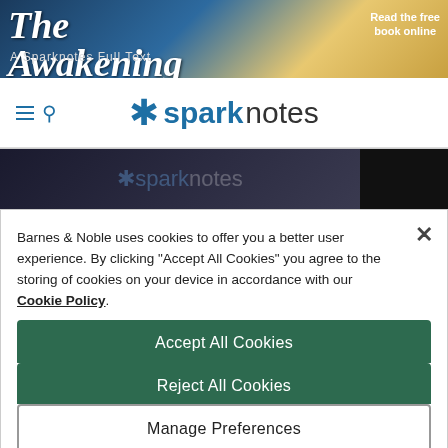[Figure (screenshot): Banner for 'The Awakening: A Sparknotes Full Text' with beach scene painting and 'Read the free book online' text]
[Figure (logo): SparkNotes logo with asterisk and navigation hamburger/search icons]
[Figure (screenshot): Dark banner bar with faint SparkNotes logo watermark]
Barnes & Noble uses cookies to offer you a better user experience. By clicking "Accept All Cookies" you agree to the storing of cookies on your device in accordance with our Cookie Policy.
Accept All Cookies
Reject All Cookies
Manage Preferences